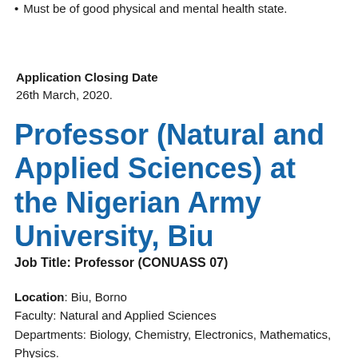Must be of good physical and mental health state.
Application Closing Date
26th March, 2020.
Professor (Natural and Applied Sciences) at the Nigerian Army University, Biu
Job Title: Professor (CONUASS 07)
Location: Biu, Borno
Faculty: Natural and Applied Sciences
Departments: Biology, Chemistry, Electronics, Mathematics, Physics.